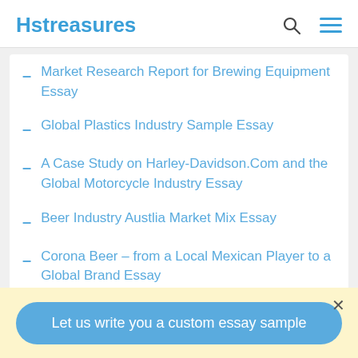Hstreasures
Market Research Report for Brewing Equipment Essay
Global Plastics Industry Sample Essay
A Case Study on Harley-Davidson.Com and the Global Motorcycle Industry Essay
Beer Industry Austlia Market Mix Essay
Corona Beer – from a Local Mexican Player to a Global Brand Essay
Porters' Five Forces of Fast Food Industry Essay
Let us write you a custom essay sample